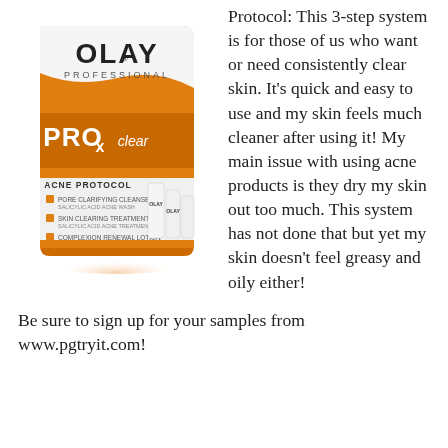[Figure (photo): Olay Professional PRO-X Clear Acne Protocol product bottle/box with orange and white design, showing a 3-step acne protocol system with small product tubes visible on the front.]
Protocol: This 3-step system is for those of us who want or need consistently clear skin. It's quick and easy to use and my skin feels much cleaner after using it! My main issue with using acne products is they dry my skin out too much. This system has not done that but yet my skin doesn't feel greasy and oily either!
Be sure to sign up for your samples from www.pgtryit.com!